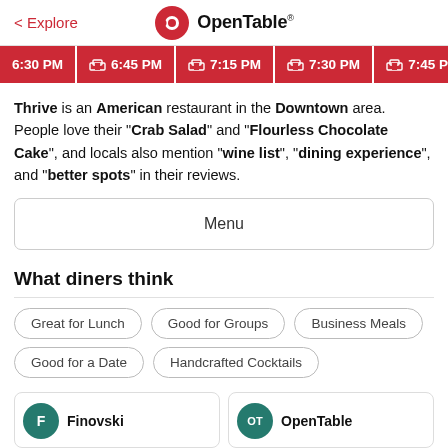< Explore   OpenTable
6:30 PM  🏠 6:45 PM  🏠 7:15 PM  🏠 7:30 PM  🏠 7:45 P
Thrive is an American restaurant in the Downtown area. People love their "Crab Salad" and "Flourless Chocolate Cake", and locals also mention "wine list", "dining experience", and "better spots" in their reviews.
Menu
What diners think
Great for Lunch
Good for Groups
Business Meals
Good for a Date
Handcrafted Cocktails
F  Finovski
OT  OpenTable